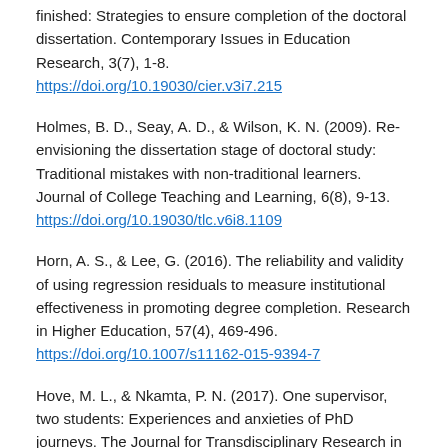finished: Strategies to ensure completion of the doctoral dissertation. Contemporary Issues in Education Research, 3(7), 1-8. https://doi.org/10.19030/cier.v3i7.215
Holmes, B. D., Seay, A. D., & Wilson, K. N. (2009). Re-envisioning the dissertation stage of doctoral study: Traditional mistakes with non-traditional learners. Journal of College Teaching and Learning, 6(8), 9-13. https://doi.org/10.19030/tlc.v6i8.1109
Horn, A. S., & Lee, G. (2016). The reliability and validity of using regression residuals to measure institutional effectiveness in promoting degree completion. Research in Higher Education, 57(4), 469-496. https://doi.org/10.1007/s11162-015-9394-7
Hove, M. L., & Nkamta, P. N. (2017). One supervisor, two students: Experiences and anxieties of PhD journeys. The Journal for Transdisciplinary Research in Southern Africa,